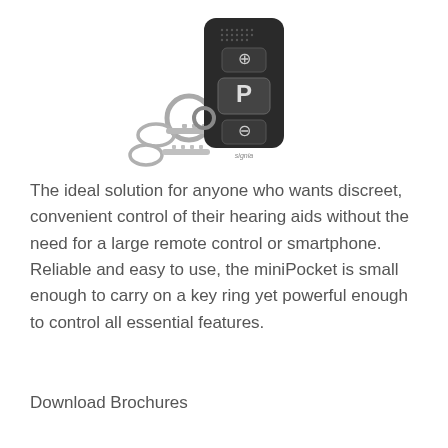[Figure (photo): A small black hearing aid remote control (miniPocket) with a plus button, P program button, and minus button, attached to a key ring with two metal keys. The device has a speaker grille at top and shows the Signia brand name.]
The ideal solution for anyone who wants discreet, convenient control of their hearing aids without the need for a large remote control or smartphone. Reliable and easy to use, the miniPocket is small enough to carry on a key ring yet powerful enough to control all essential features.
Download Brochures